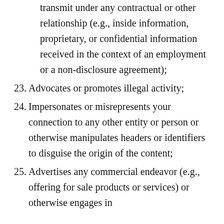transmit under any contractual or other relationship (e.g., inside information, proprietary, or confidential information received in the context of an employment or a non-disclosure agreement);
23. Advocates or promotes illegal activity;
24. Impersonates or misrepresents your connection to any other entity or person or otherwise manipulates headers or identifiers to disguise the origin of the content;
25. Advertises any commercial endeavor (e.g., offering for sale products or services) or otherwise engages in